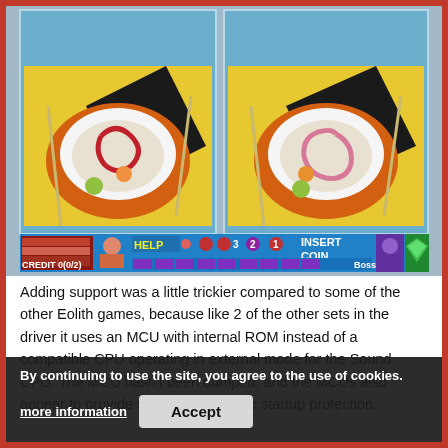[Figure (screenshot): Two side-by-side screenshots of an arcade game showing a bowl with food items on a plate, plus a game HUD showing 'HELP', 'INSERT COIN', 'CREDIT 0(0/2)', 'Boss' and coin/ball indicators.]
Adding support was a little trickier compared to some of the other Eolith games, because like 2 of the other sets in the driver it uses an MCU with internal ROM instead of a compatible CPU operating in external mode for the Sound CPU. The MCU hasn't been dumped, and the MCUs also appear to provide some kind of basic startup protection.
The actual sound program is simple, so to get sound we can at least substitute it with a program
By continuing to use the site, you agree to the use of cookies.
more information
Accept